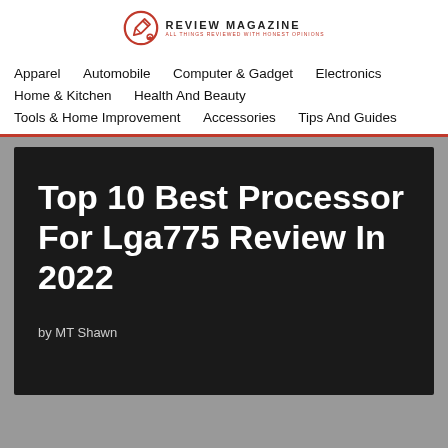REVIEW MAGAZINE
Apparel
Automobile
Computer & Gadget
Electronics
Home & Kitchen
Health And Beauty
Tools & Home Improvement
Accessories
Tips And Guides
Top 10 Best Processor For Lga775 Review In 2022
by MT Shawn